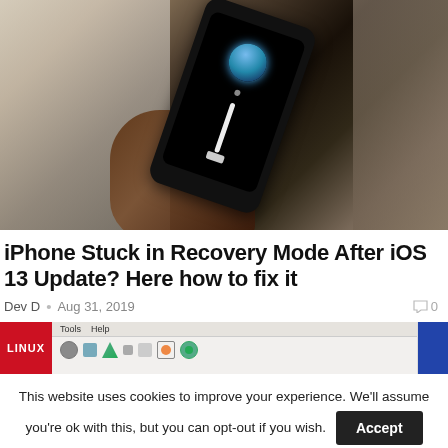[Figure (photo): A hand holding a black iPhone in recovery mode (showing a USB cable icon and Siri globe icon on screen), with a laptop screen visible in the background.]
iPhone Stuck in Recovery Mode After iOS 13 Update? Here how to fix it
Dev D • Aug 31, 2019
[Figure (screenshot): Partial screenshot of a Linux application window showing menubar with Tools, Help and a toolbar with icons. A red LINUX badge overlays the left side.]
This website uses cookies to improve your experience. We'll assume you're ok with this, but you can opt-out if you wish.
Accept
Read More